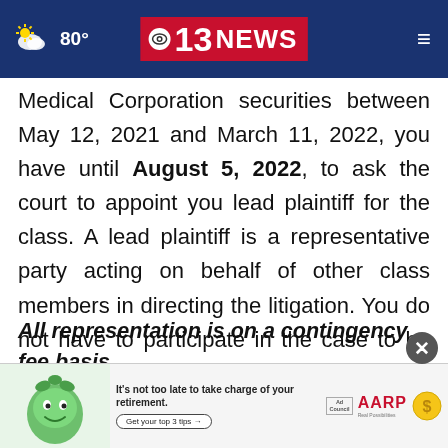80° | CBS 13 NEWS
Medical Corporation securities between May 12, 2021 and March 11, 2022, you have until August 5, 2022, to ask the court to appoint you lead plaintiff for the class. A lead plaintiff is a representative party acting on behalf of other class members in directing the litigation. You do not have to participate in the case to be eligible for a recovery.
All representation is on a contingency fee basis.
Share...
[Figure (screenshot): AARP advertisement banner: 'It's not too late to take charge of your retirement. Get your top 3 tips.' with Ad Council and AARP logos and a cartoon green character.]